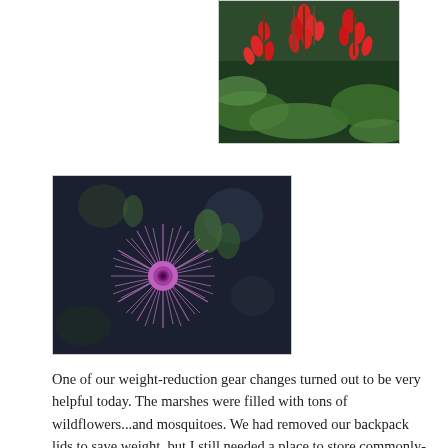[Figure (photo): Close-up photo of red/pink drooping flowers with green foliage in the background, centered-right on the page]
[Figure (photo): Close-up macro photo of a purple thistle flower head with spiky petals against a dark blurred background, positioned on the left side]
One of our weight-reduction gear changes turned out to be very helpful today. The marshes were filled with tons of wildflowers...and mosquitoes. We had removed our backpack lids to save weight, but I still needed a place to store commonly-used items. The  built-in hip-belt pockets on my Osprey Talon were promising, but their small size and open mesh made them less than ideal. I cut them off and replaced them with larger